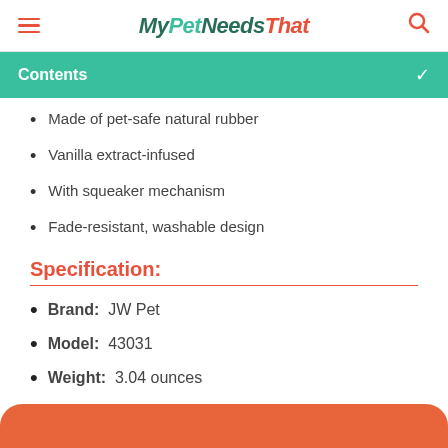MyPetNeedsThat
Contents
Made of pet-safe natural rubber
Vanilla extract-infused
With squeaker mechanism
Fade-resistant, washable design
Specification:
Brand: JW Pet
Model: 43031
Weight: 3.04 ounces